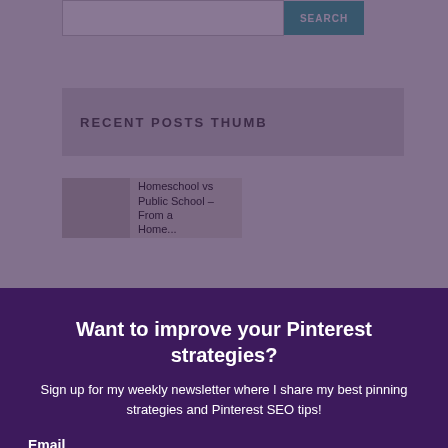SEARCH
RECENT POSTS THUMB
Homeschool vs Public School – From a
Want to improve your Pinterest strategies?
Sign up for my weekly newsletter where I share my best pinning strategies and Pinterest SEO tips!
Email
Name
SUBSCRIBE